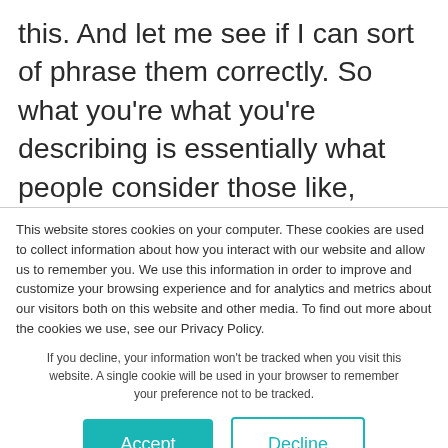this. And let me see if I can sort of phrase them correctly. So what you're what you're describing is essentially what people consider those like, innovative or industry disruptors. And so it disrupts it to the point where everybody has to stop what they're doing and completely sort of pivot. However,
This website stores cookies on your computer. These cookies are used to collect information about how you interact with our website and allow us to remember you. We use this information in order to improve and customize your browsing experience and for analytics and metrics about our visitors both on this website and other media. To find out more about the cookies we use, see our Privacy Policy.
If you decline, your information won't be tracked when you visit this website. A single cookie will be used in your browser to remember your preference not to be tracked.